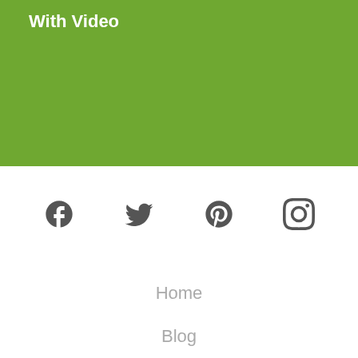With Video
[Figure (infographic): Social media icons: Facebook, Twitter, Pinterest, Instagram]
Home
Blog
Learning
Recipes